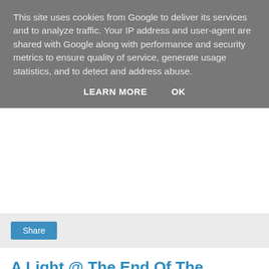This site uses cookies from Google to deliver its services and to analyze traffic. Your IP address and user-agent are shared with Google along with performance and security metrics to ensure quality of service, generate usage statistics, and to detect and address abuse.
LEARN MORE   OK
Share
A Light @ The End Of The Dubstep Tunnel?
Those of you following these pages regularly surely have recognized that I've been more than sceptical about the recent state of Dubstep scene but these days I've seen a bit of light @ the end of tunnel. First of all there's the double-A-side 12" of Eprom and Eskmo put on the circuit via Warp as their cat.no. 228 which is surely a remarkable piece of music. The next one to check out these days is the "Nu Levels E.P."